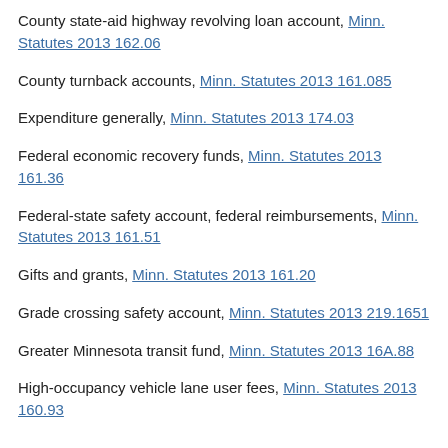County state-aid highway revolving loan account, Minn. Statutes 2013 162.06
County turnback accounts, Minn. Statutes 2013 161.085
Expenditure generally, Minn. Statutes 2013 174.03
Federal economic recovery funds, Minn. Statutes 2013 161.36
Federal-state safety account, federal reimbursements, Minn. Statutes 2013 161.51
Gifts and grants, Minn. Statutes 2013 161.20
Grade crossing safety account, Minn. Statutes 2013 219.1651
Greater Minnesota transit fund, Minn. Statutes 2013 16A.88
High-occupancy vehicle lane user fees, Minn. Statutes 2013 160.93